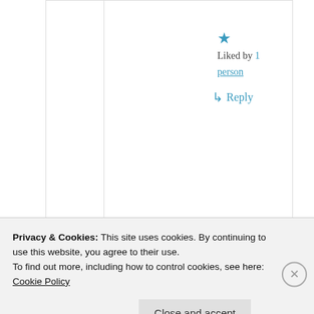★ Liked by 1 person
↳ Reply
kalbokalbs
08/04/2021 @ 09:12 at 09:12
Well I feel better. Me to.
Privacy & Cookies: This site uses cookies. By continuing to use this website, you agree to their use.
To find out more, including how to control cookies, see here: Cookie Policy
Close and accept